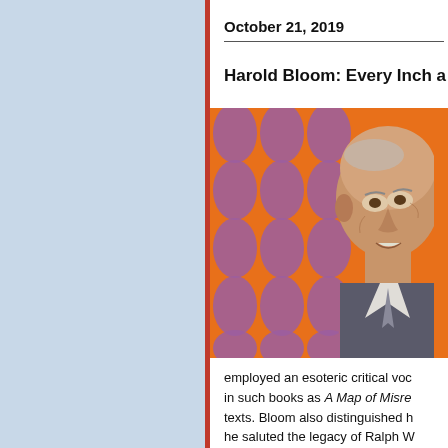October 21, 2019
Harold Bloom: Every Inch a
[Figure (photo): Photograph of Harold Bloom, an elderly man with short gray hair, in front of an orange and purple decorative background. He appears to be speaking.]
employed an esoteric critical voc... in such books as A Map of Misre... texts. Bloom also distinguished h... he saluted the legacy of Ralph W... James Merrill way ahead of near...